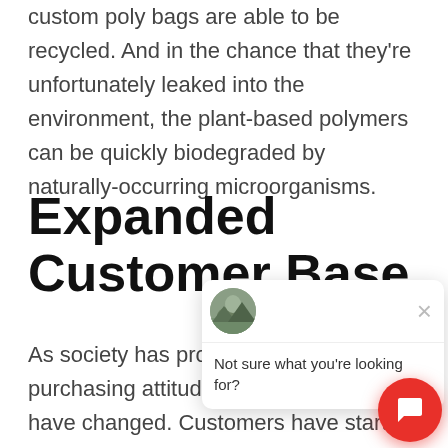custom poly bags are able to be recycled. And in the chance that they're unfortunately leaked into the environment, the plant-based polymers can be quickly biodegraded by naturally-occurring microorganisms.
Expanded Customer Base
As society has progressed, consumer purchasing attitudes and behaviors have changed. Customers have started to put more thought into their purchases, like choosing brands that do
[Figure (screenshot): Chat widget overlay with avatar image, close button (×), and message 'Not sure what you're looking for?' along with a red circular chat button at bottom right.]